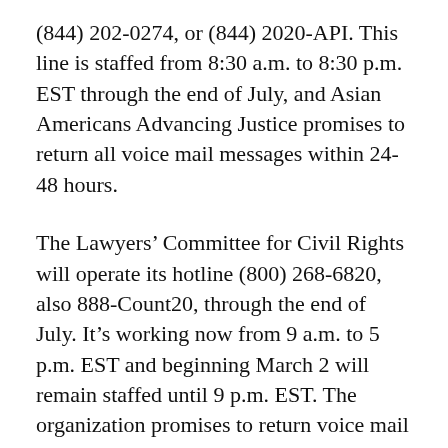(844) 202-0274, or (844) 2020-API. This line is staffed from 8:30 a.m. to 8:30 p.m. EST through the end of July, and Asian Americans Advancing Justice promises to return all voice mail messages within 24-48 hours.
The Lawyers' Committee for Civil Rights will operate its hotline (800) 268-6820, also 888-Count20, through the end of July. It's working now from 9 a.m. to 5 p.m. EST and beginning March 2 will remain staffed until 9 p.m. EST. The organization promises to return voice mail messages left at other times on the following business day.